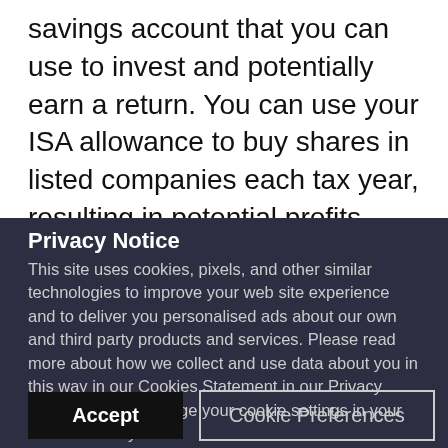savings account that you can use to invest and potentially earn a return. You can use your ISA allowance to buy shares in listed companies each tax year, resulting in potential profits earned from
Privacy Notice
This site uses cookies, pixels, and other similar technologies to improve your web site experience and to deliver you personalised ads about our own and third party products and services. Please read more about how we collect and use data about you in this way in our Cookies Statement in our Privacy Policy. You can change your cookie settings in your browser at any time.